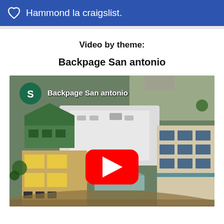Hammond la craigslist.
Video by theme:
Backpage San antonio
[Figure (screenshot): YouTube video thumbnail showing an aerial view of a large commercial/medical building complex, with a green circle channel icon showing 'S' and the text 'Backpage San antonio', and a YouTube red play button in the center.]